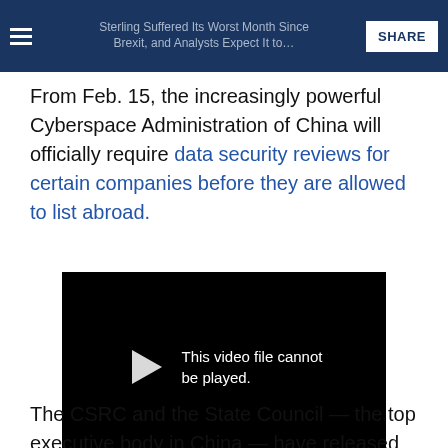Sterling Suffered Its Worst Month Since Brexit, and Analysts Expect It to... SHARE
From Feb. 15, the increasingly powerful Cyberspace Administration of China will officially require data security reviews for certain companies before they are allowed to list abroad.
[Figure (screenshot): Black video player showing error message 'This video file cannot be played' with a play/arrow icon on the left]
The CSRC and the State Council — the top executive body in China — have released more comprehensive draft rules, and